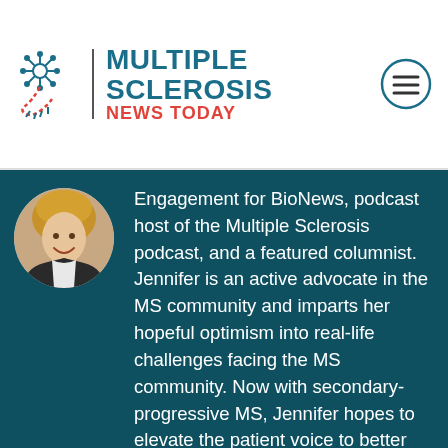Multiple Sclerosis News Today
[Figure (photo): Circular headshot photo of a smiling woman with blonde hair, wearing a dark vest, shown from shoulders up against a warm background.]
Engagement for BioNews, podcast host of the Multiple Sclerosis podcast, and a featured columnist. Jennifer is an active advocate in the MS community and imparts her hopeful optimism into real-life challenges facing the MS community. Now with secondary-progressive MS, Jennifer hopes to elevate the patient voice to better the lives of those living with the disease. Prior to writing her column, Jennifer freelanced for several online periodicals. When not